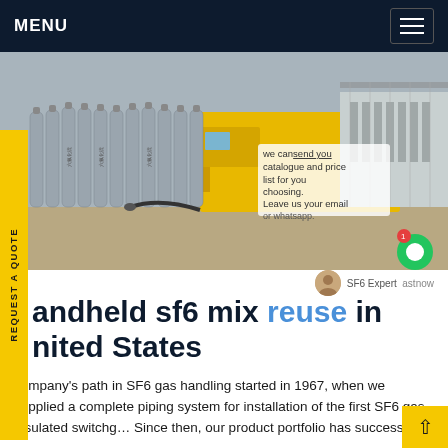MENU
[Figure (photo): Row of grey SF6 gas cylinders lined up in front of a yellow truck at an industrial site with equipment and fencing in the background. An overlay text reads: 'we can send you catalogue and price list for you choosing. Leave us your email or whatsapp.']
SF6 Expert  astnow
andheld sf6 mix reuse in nited States
company's path in SF6 gas handling started in 1967, when we supplied a complete piping system for installation of the first SF6 gas insulated switchg... Since then, our product portfolio has successively...